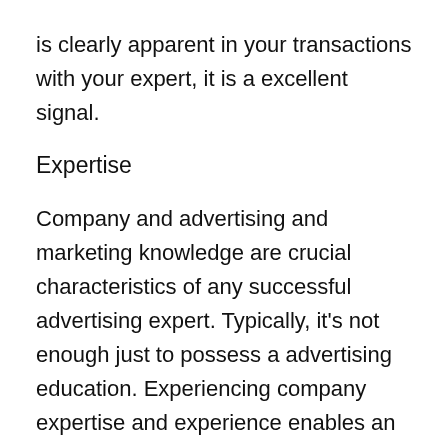is clearly apparent in your transactions with your expert, it is a excellent signal.
Expertise
Company and advertising and marketing knowledge are crucial characteristics of any successful advertising expert. Typically, it's not enough just to possess a advertising education. Experiencing company expertise and experience enables an advisor to demonstrate their customers precisely how you can do well. Don't be reluctant to look into a marketing and advertising consultant's